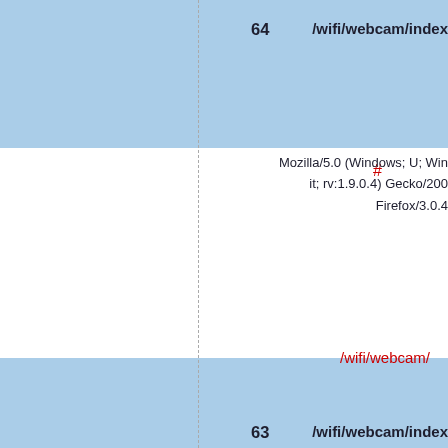| # | path | user-agent |
| --- | --- | --- |
| 64 | /wifi/webcam/index… | Mozilla/5.0 (Windows; U; Win…
it; rv:1.9.0.4) Gecko/2008…
Firefox/3.0.4 |
|  | /wifi/webcam/ |  |
| 63 | /wifi/webcam/index… | Mozilla/5.0 (Windows; U; Win…
it; rv:1.9.0.4) Gecko/2008…
Firefox/3.0.4 |
|  | /wifi/webcam/ |  |
| 62 | /wifi/webcam/index… | Mozilla/5.0 (Windows; U; Win…
it; rv:1.9.0.4) Gecko/2008… |